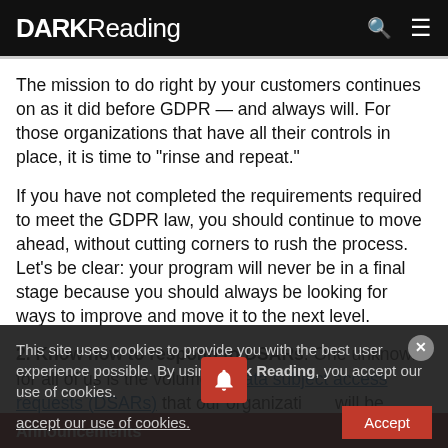DARK Reading
The mission to do right by your customers continues on as it did before GDPR — and always will. For those organizations that have all their controls in place, it is time to "rinse and repeat."
If you have not completed the requirements required to meet the GDPR law, you should continue to move ahead, without cutting corners to rush the process. Let's be clear: your program will never be in a final stage because you should always be looking for ways to improve and move it to the next level.
2. Know how to respond to DSARs. One unknown for all of us is the volume of data subject access requests (DSARs) that our organizations will be processing. Data
This site uses cookies to provide you with the best user experience possible. By using Dark Reading, you accept our use of cookies.
Announcements